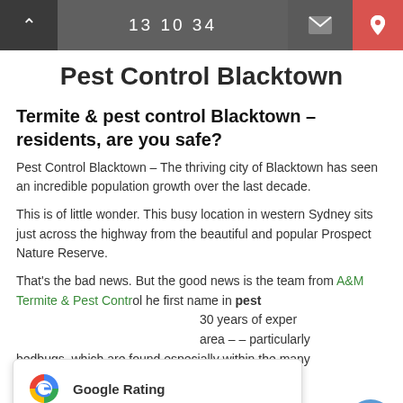13 10 34
Pest Control Blacktown
Termite & pest control Blacktown – residents, are you safe?
Pest Control Blacktown – The thriving city of Blacktown has seen an incredible population growth over the last decade.
This is of little wonder. This busy location in western Sydney sits just across the highway from the beautiful and popular Prospect Nature Reserve.
That's the bad news. But the good news is the team from A&M Termite & Pest Control he first name in pest... 30 years of exper... area – – particularly bedbugs, which are found especially within the many